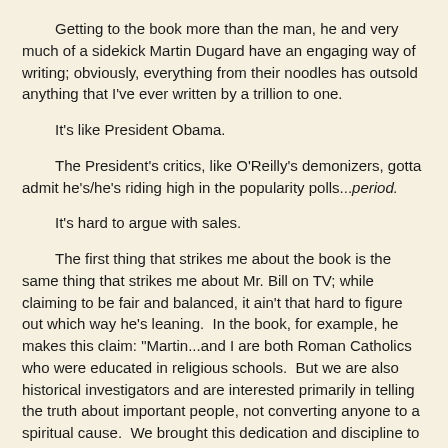Getting to the book more than the man, he and very much of a sidekick Martin Dugard have an engaging way of writing; obviously, everything from their noodles has outsold anything that I've ever written by a trillion to one.
It's like President Obama.
The President's critics, like O'Reilly's demonizers, gotta admit he's/he's riding high in the popularity polls...period.
It's hard to argue with sales.
The first thing that strikes me about the book is the same thing that strikes me about Mr. Bill on TV; while claiming to be fair and balanced, it ain't that hard to figure out which way he's leaning.  In the book, for example, he makes this claim: "Martin...and I are both Roman Catholics who were educated in religious schools.  But we are also historical investigators and are interested primarily in telling the truth about important people, not converting anyone to a spiritual cause.  We brought this dedication and discipline to Abraham Lincoln and John F. Kennedy, and in these pages we will do the same with Jesus of